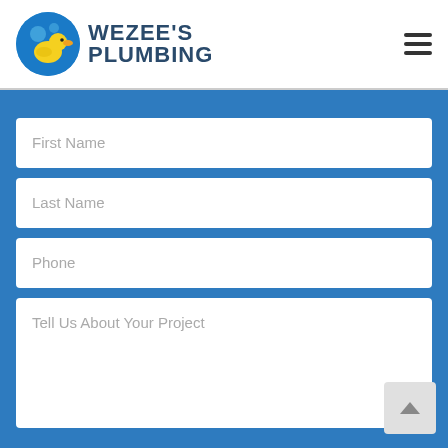[Figure (logo): Wezee's Plumbing logo with rubber duck icon and blue background circle]
[Figure (other): Hamburger menu icon (three horizontal lines)]
First Name
Last Name
Phone
Tell Us About Your Project